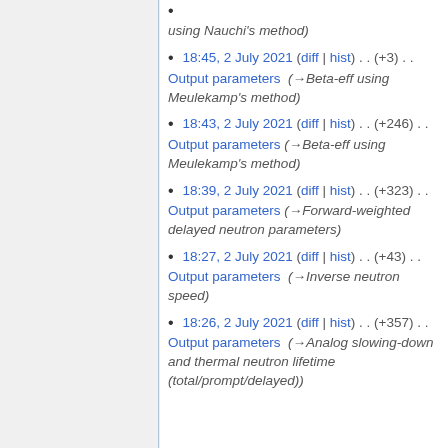using Nauchi's method
18:45, 2 July 2021 (diff | hist) . . (+3) . . Output parameters (→Beta-eff using Meulekamp's method)
18:43, 2 July 2021 (diff | hist) . . (+246) . . Output parameters (→Beta-eff using Meulekamp's method)
18:39, 2 July 2021 (diff | hist) . . (+323) . . Output parameters (→Forward-weighted delayed neutron parameters)
18:27, 2 July 2021 (diff | hist) . . (+43) . . Output parameters (→Inverse neutron speed)
18:26, 2 July 2021 (diff | hist) . . (+357) . . Output parameters (→Analog slowing-down and thermal neutron lifetime (total/prompt/delayed))